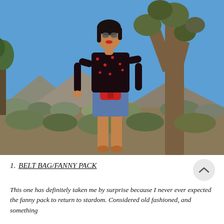[Figure (photo): A woman wearing a black sheer floral top, denim mini skirt, and red fanny pack/belt bag, standing outdoors in a desert landscape with Joshua trees and a clear blue sky. She has dark hair, red lipstick, and round sunglasses.]
1. BELT BAG/FANNY PACK
This one has definitely taken me by surprise because I never ever expected the fanny pack to return to stardom. Considered old fashioned, and something